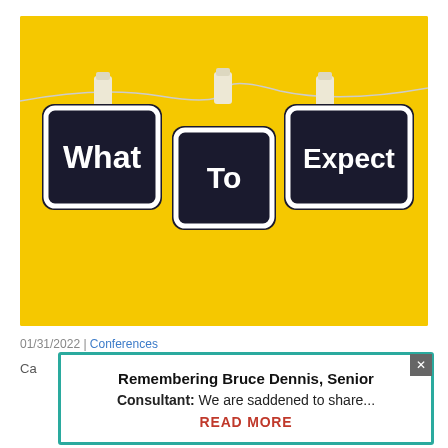[Figure (photo): Yellow background photo with three black chalkboard signs clipped to a string with wooden clothespins. Signs read 'What', 'To', 'Expect' in white bold text.]
01/31/2022 | Conferences
Ca... g a
Remembering Bruce Dennis, Senior Consultant: We are saddened to share... READ MORE